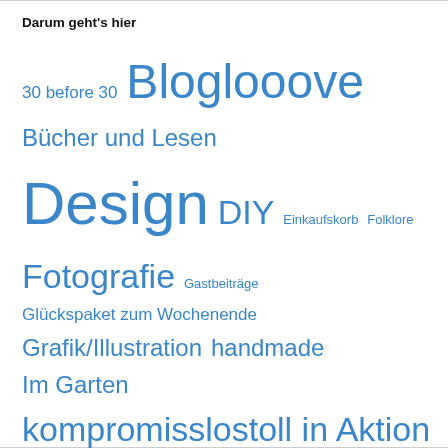Darum geht's hier
[Figure (infographic): Tag cloud with German blog category labels in various font sizes, all in blue. Categories include: 30 before 30, Bloglooove, Bücher und Lesen, Design, DIY, Einkaufskorb, Folklore, Fotografie, Gastbeiträge, Glückspaket zum Wochenende, Grafik/Illustration, handmade, Im Garten, kompromisslostoll in Aktion, Mahlzeit, Mittwochs mit..., Papier und Scherenschnitte, Places to be, Shoppen, Sonntagssüß, Soulfood, Vintage, Vintagefunde, Wohnen]